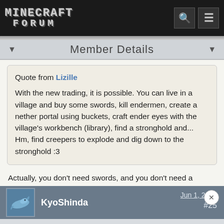MINECRAFT FORUM
Member Details
Quote from Lizille

With the new trading, it is possible. You can live in a village and buy some swords, kill endermen, create a nether portal using buckets, craft ender eyes with the village's workbench (library), find a stronghold and... Hm, find creepers to explode and dig down to the stronghold :3
Actually, you don't need swords, and you don't need a crafting table to craft eye of enders. (You can craft the eye of enders in the 2 x 2 grid in your inventory.)
KyoShinda
Jun 1, 2012
#25
Member Details